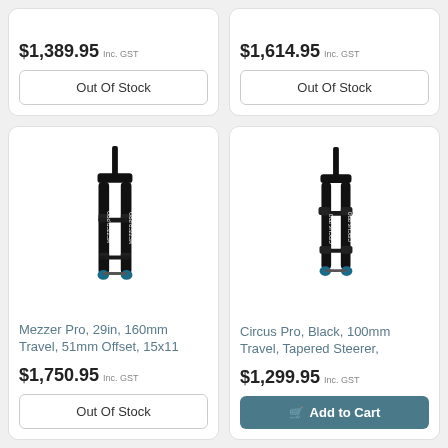$1,389.95 Inc. GST
Out Of Stock
$1,614.95 Inc. GST
Out Of Stock
[Figure (photo): Mezzer Pro bicycle fork, black, 29in]
Mezzer Pro, 29in, 160mm Travel, 51mm Offset, 15x11
$1,750.95 Inc. GST
Out Of Stock
[Figure (photo): Circus Pro bicycle fork, black, 100mm travel]
Circus Pro, Black, 100mm Travel, Tapered Steerer,
$1,299.95 Inc. GST
Add to Cart